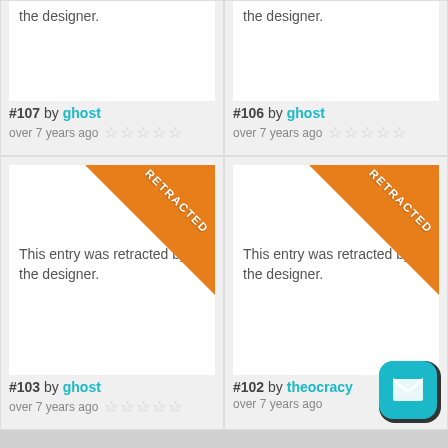the designer.
the designer.
#107 by ghost
over 7 years ago
#106 by ghost
over 7 years ago
[Figure (screenshot): Retracted entry card with orange RETRACTED banner in top-right corner. Text: This entry was retracted by the designer.]
[Figure (screenshot): Retracted entry card with orange RETRACTED banner in top-right corner. Text: This entry was retracted by the designer.]
#103 by ghost
over 7 years ago
#102 by theocracy
over 7 years ago